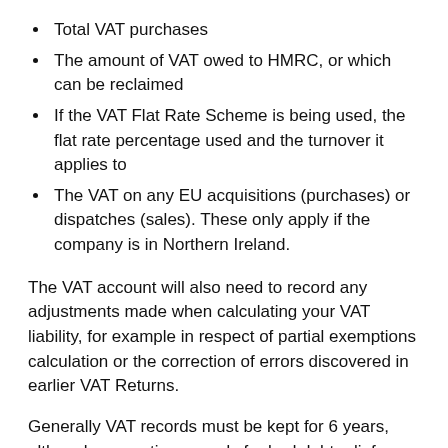Total VAT purchases
The amount of VAT owed to HMRC, or which can be reclaimed
If the VAT Flat Rate Scheme is being used, the flat rate percentage used and the turnover it applies to
The VAT on any EU acquisitions (purchases) or dispatches (sales). These only apply if the company is in Northern Ireland.
The VAT account will also need to record any adjustments made when calculating your VAT liability, for example in respect of partial exemptions calculation or the correction of errors discovered in earlier VAT Returns.
Generally VAT records must be kept for 6 years, although supporting records for bad debt relief claimed is only required to be kept for four years.
Exam